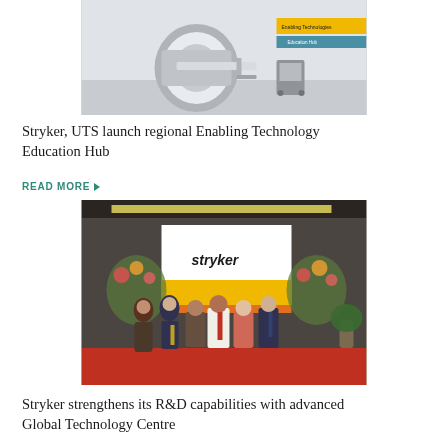[Figure (photo): CT scanner or MRI-like medical imaging equipment in a clinical room with yellow accents and a sign reading Enabling Technologies / Education Hub]
Stryker, UTS launch regional Enabling Technology Education Hub
READ MORE ▶
[Figure (photo): Group of six people standing in front of a Stryker branded backdrop with yellow and orange design, posing at what appears to be an opening ceremony]
Stryker strengthens its R&D capabilities with advanced Global Technology Centre